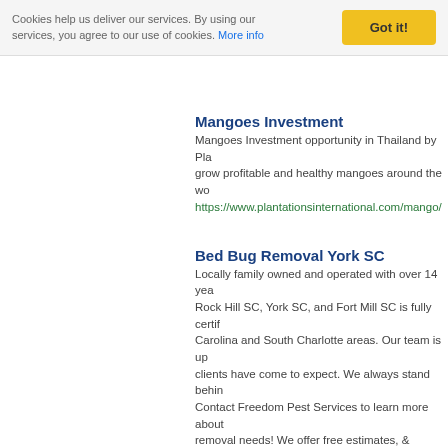Cookies help us deliver our services. By using our services, you agree to our use of cookies. More info
Got it!
Mangoes Investment
Mangoes Investment opportunity in Thailand by Pla grow profitable and healthy mangoes around the wo
https://www.plantationsinternational.com/mango/
Bed Bug Removal York SC
Locally family owned and operated with over 14 yea Rock Hill SC, York SC, and Fort Mill SC is fully certif Carolina and South Charlotte areas. Our team is up clients have come to expect. We always stand behin Contact Freedom Pest Services to learn more about removal needs! We offer free estimates, & provide te encapsulation, moisture control, & bed bug removal
https://freedompestservices.com/
VIP Enterprises Tree & Fence Experts
We are licensed and insured to handle a range of tre tree removal or simple quick requests like tree trimm Whether you have an unsightly stump in the middle c near your home, we would be happy to assess the s equipment to take down any tree safely and professi removal service, contact us at any time. At VIP Enter number one priority. If you need tree work, managed hire. We have over 30 years of combined experience professional and quality tree services. tree service in stump grinding in Bryan TX, emergency stone work i
http://www.viptreesandfence.com